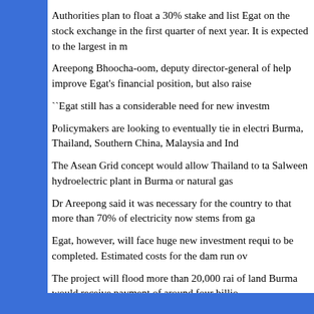Authorities plan to float a 30% stake and list Egat on the stock exchange in the first quarter of next year. It is expected to the largest in m...
Areepong Bhoocha-oom, deputy director-general of... help improve Egat's financial position, but also raise...
``Egat still has a considerable need for new investm...
Policymakers are looking to eventually tie in electri... Burma, Thailand, Southern China, Malaysia and Ind...
The Asean Grid concept would allow Thailand to ta... Salween hydroelectric plant in Burma or natural gas...
Dr Areepong said it was necessary for the country to... that more than 70% of electricity now stems from ga...
Egat, however, will face huge new investment requi... to be completed. Estimated costs for the dam run ov...
The project will flood more than 20,000 rai of land... Burma would receive payment of around four billio...
Dr Areepong said that assuming market conditions m... In 2002, the state enterprise had net profits of 27.35...
Total assets for Egat as of the end of last year were 3...